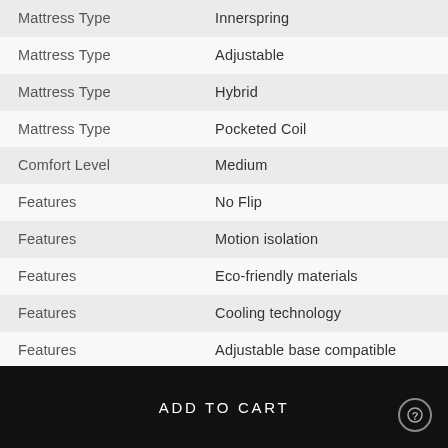| Category | Value |
| --- | --- |
| Mattress Type | Innerspring |
| Mattress Type | Adjustable |
| Mattress Type | Hybrid |
| Mattress Type | Pocketed Coil |
| Comfort Level | Medium |
| Features | No Flip |
| Features | Motion isolation |
| Features | Eco-friendly materials |
| Features | Cooling technology |
| Features | Adjustable base compatible |
| Features | Pressure relief |
ADD TO CART